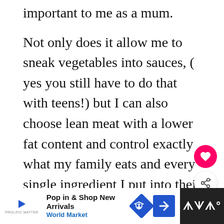important to me as a mum.
Not only does it allow me to sneak vegetables into sauces, ( yes you still have to do that with teens!) but I can also choose lean meat with a lower fat content and control exactly what my family eats and every single ingredient I put into their food.. Home made always tastes best, and this recipe for pork meatballs taste amazing.
[Figure (screenshot): Heart/like button (pink circle with heart icon) and share button (white circle with share icon) overlaid on text]
[Figure (screenshot): What's Next panel showing BBQ Pulled Chicken... with thumbnail image]
[Figure (screenshot): Advertisement bar at bottom: Pop in & Shop New Arrivals, World Market with logo and navigation arrows]